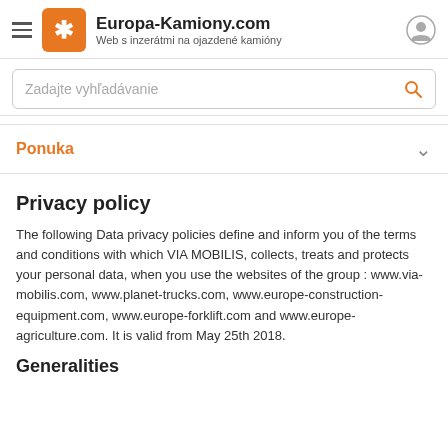Europa-Kamiony.com — Web s inzerátmi na ojazdené kamióny
Zadajte vyhľadávanie
Ponuka
Privacy policy
The following Data privacy policies define and inform you of the terms and conditions with which VIA MOBILIS, collects, treats and protects your personal data, when you use the websites of the group : www.via-mobilis.com, www.planet-trucks.com, www.europe-construction-equipment.com, www.europe-forklift.com and www.europe-agriculture.com. It is valid from May 25th 2018.
Generalities